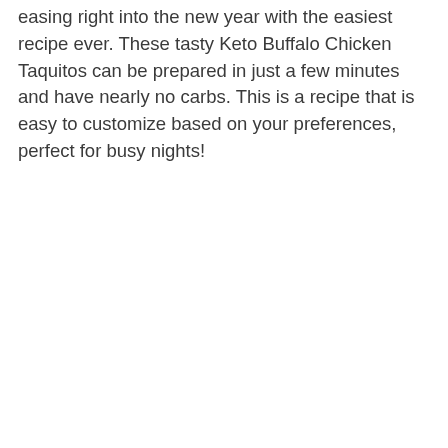easing right into the new year with the easiest recipe ever. These tasty Keto Buffalo Chicken Taquitos can be prepared in just a few minutes and have nearly no carbs. This is a recipe that is easy to customize based on your preferences, perfect for busy nights!